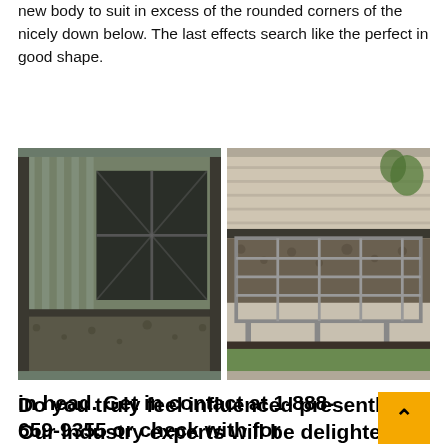new body to suit in excess of the rounded corners of the nicely down below. The last effects search like the perfect in good shape.
[Figure (photo): Two side-by-side photos of window well covers installed on the exterior of a house. Left photo shows a metal corrugated window well with a window. Right photo shows a metal grated cover over a window well next to siding and gravel.]
Do you truly feel influenced presently? Our Industry experts will be delighted to examine with you any task that you ha in head. Get in contact at 1-888-659-9355 or check with for